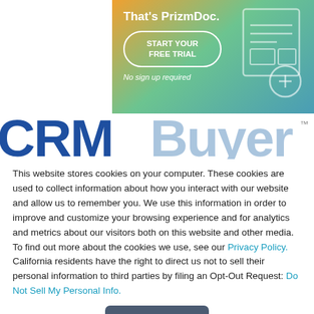[Figure (illustration): PrizmDoc advertisement banner with gradient background (orange to teal). Text reads 'That's PrizmDoc.' with a 'START YOUR FREE TRIAL' button and 'No sign up required' below. Right side shows a document viewer icon illustration.]
[Figure (logo): CRMBuyer (or similar) website logo in large bold blue letters, partially visible, with TM mark. Letters appear as 'CRM' in dark blue and 'Buyer' in light blue.]
This website stores cookies on your computer. These cookies are used to collect information about how you interact with our website and allow us to remember you. We use this information in order to improve and customize your browsing experience and for analytics and metrics about our visitors both on this website and other media. To find out more about the cookies we use, see our Privacy Policy. California residents have the right to direct us not to sell their personal information to third parties by filing an Opt-Out Request: Do Not Sell My Personal Info.